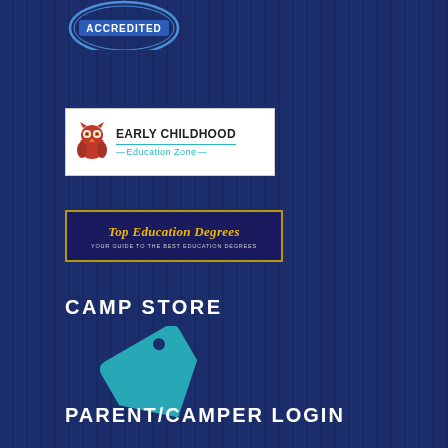[Figure (logo): Accredited badge/seal at top - partial view showing 'ACCREDITED' text in a circular badge shape]
[Figure (logo): Early Childhood Education Zone logo - white box with owl icon and colorful text]
[Figure (logo): Top Education Degrees logo - dark blue/navy box with gold text reading 'Top Education Degrees' and subtitle 'YOUR GUIDE TO THE BEST EDUCATION DEGREES']
CAMP STORE
[Figure (illustration): Teal/cyan price tag icon]
PARENT/CAMPER LOGIN